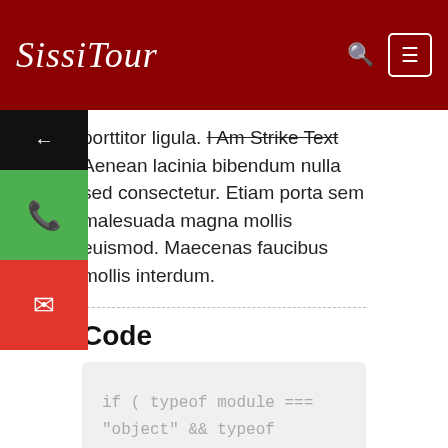SissiTour
porttitor ligula. I Am Strike Text Aenean lacinia bibendum nulla sed consectetur. Etiam porta sem malesuada magna mollis euismod. Maecenas faucibus mollis interdum.
Code
[Figure (screenshot): Code block showing JavaScript: if ( typeof module === "object" && typeof module.exports === "object" ) { factory( global ); }]